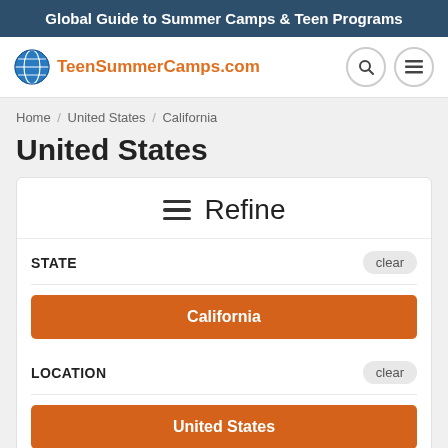Global Guide to Summer Camps & Teen Programs
[Figure (logo): TeenSummerCamps.com logo with globe icon]
Home / United States / California
United States
Refine
STATE
clear
California
LOCATION
clear
United States